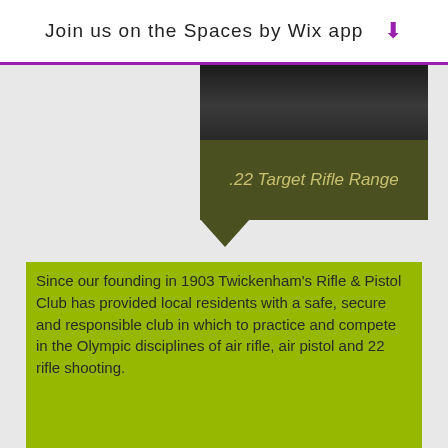Join us on the Spaces by Wix app ↓
.22 Target Rifle Range
Since our founding in 1903 Twickenham's Rifle & Pistol Club has provided local residents with a safe, secure and responsible club in which to practice and compete in the Olympic disciplines of air rifle, air pistol and 22 rifle shooting.
New Members
Located in the ... Middlesex, a